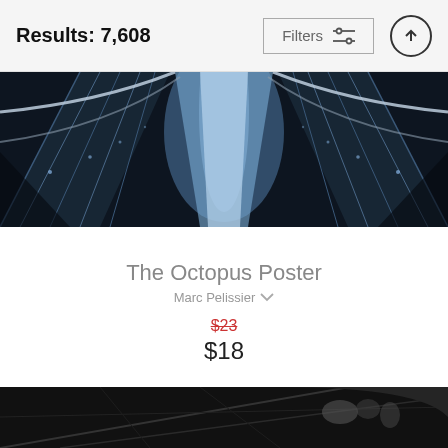Results: 7,608   Filters
[Figure (photo): Top-down symmetrical view of blue-lit escalator handrails converging to a vanishing point]
The Octopus Poster
Marc Pelissier
$23 (original price, struck through) $18 (sale price)
[Figure (photo): Black and white architectural photo showing geometric angular lines with blurred figures on stairs or escalator]